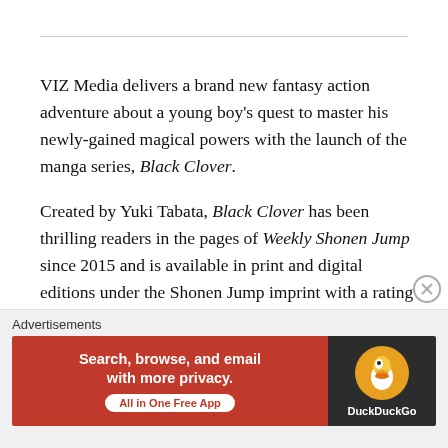VIZ Media delivers a brand new fantasy action adventure about a young boy's quest to master his newly-gained magical powers with the launch of the manga series, Black Clover.
Created by Yuki Tabata, Black Clover has been thrilling readers in the pages of Weekly Shonen Jump since 2015 and is available in print and digital editions under the Shonen Jump imprint with a rating of "T" for Teens. Print editions carry an MSRP of $9.99 U.S. / $12.99 CAN. Black Clover digital volumes are available via
Advertisements
[Figure (infographic): DuckDuckGo advertisement banner: orange-red background on left with text 'Search, browse, and email with more privacy. All in One Free App', dark background on right with DuckDuckGo duck logo]